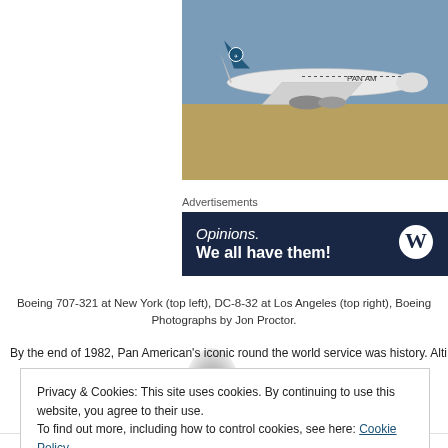[Figure (photo): Pan Am Boeing 747 aircraft on runway at Los Angeles airport, white with blue globe tail logo, blue sky background, tan airfield ground]
Advertisements
[Figure (infographic): WordPress advertisement banner: dark navy background, text 'Opinions. We all have them!' with WordPress W logo]
Boeing 707-321 at New York (top left), DC-8-32 at Los Angeles (top right), Boeing
Photographs by Jon Proctor.
By the end of 1982, Pan American's iconic round the world service was history. Alti
Privacy & Cookies: This site uses cookies. By continuing to use this website, you agree to their use.
To find out more, including how to control cookies, see here: Cookie Policy
Close and accept